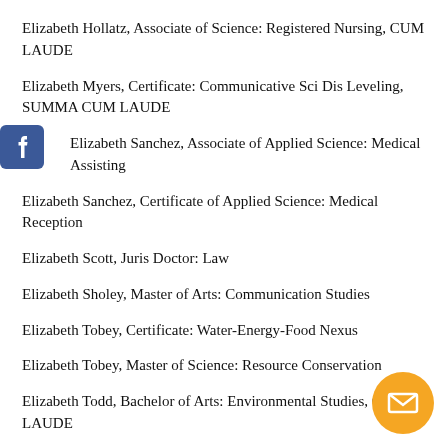Elizabeth Hollatz, Associate of Science: Registered Nursing, CUM LAUDE
Elizabeth Myers, Certificate: Communicative Sci Dis Leveling, SUMMA CUM LAUDE
Elizabeth Sanchez, Associate of Applied Science: Medical Assisting
Elizabeth Sanchez, Certificate of Applied Science: Medical Reception
Elizabeth Scott, Juris Doctor: Law
Elizabeth Sholey, Master of Arts: Communication Studies
Elizabeth Tobey, Certificate: Water-Energy-Food Nexus
Elizabeth Tobey, Master of Science: Resource Conservation
Elizabeth Todd, Bachelor of Arts: Environmental Studies, CUM LAUDE
Elle Fisher, Bachelor of Fine Arts: Theatre, MAGNA CUM LAUDE